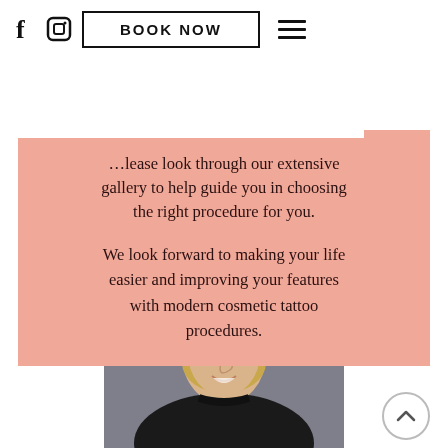BOOK NOW
Please look through our extensive gallery to help guide you in choosing the right procedure for you.

We look forward to making your life easier and improving your features with modern cosmetic tattoo procedures.
[Figure (photo): Portrait photo of a blonde woman wearing glasses and a black turtleneck top, smiling, with a decorative patterned background behind her.]